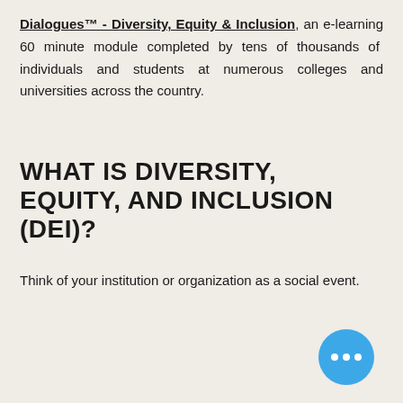Dialogues™ - Diversity, Equity & Inclusion, an e-learning 60 minute module completed by tens of thousands of individuals and students at numerous colleges and universities across the country.
WHAT IS DIVERSITY, EQUITY, AND INCLUSION (DEI)?
Think of your institution or organization as a social event.
[Figure (infographic): Pink box with the word DIVERSITY as a bold uppercase title, followed by the text: Diversity addresses only who is in the room. A blue circle with three white dots is in the bottom-right corner.]